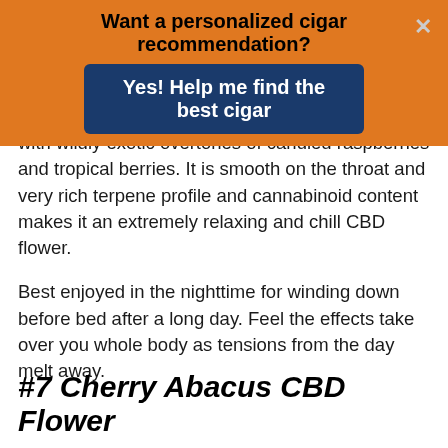[Figure (other): Orange promotional banner with text 'Want a personalized cigar recommendation?' and a dark blue button 'Yes! Help me find the best cigar' with a close X button]
with wildly exotic overtones of candied raspberries and tropical berries. It is smooth on the throat and very rich terpene profile and cannabinoid content makes it an extremely relaxing and chill CBD flower.
Best enjoyed in the nighttime for winding down before bed after a long day. Feel the effects take over you whole body as tensions from the day melt away.
#7 Cherry Abacus CBD Flower